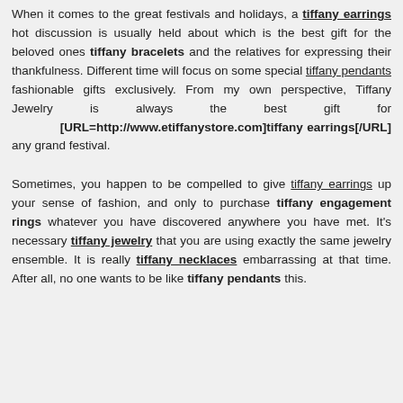When it comes to the great festivals and holidays, a [U][B]tiffany earrings[/U][/B] hot discussion is usually held about which is the best gift for the beloved ones [B]tiffany bracelets[/B] and the relatives for expressing their thankfulness. Different time will focus on some special [U]tiffany pendants[/U] fashionable gifts exclusively. From my own perspective, Tiffany Jewelry is always the best gift for [B][URL=http://www.etiffanystore.com]tiffany earrings[/URL][/B] any grand festival.
Sometimes, you happen to be compelled to give [U]tiffany earrings[/U] up your sense of fashion, and only to purchase [B]tiffany engagement rings[/B] whatever you have discovered anywhere you have met. It's necessary [U][B]tiffany jewelry[/U][/B] that you are using exactly the same jewelry ensemble. It is really [U][B]tiffany necklaces[/U][/B] embarrassing at that time. After all, no one wants to be like [B]tiffany pendants[/B] this.